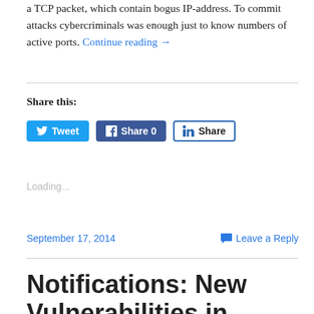a TCP packet, which contain bogus IP-address. To commit attacks cybercriminals was enough just to know numbers of active ports. Continue reading →
Share this:
[Figure (other): Social sharing buttons: Tweet (Twitter), Share 0 (Facebook), Share (LinkedIn)]
Loading...
September 17, 2014    Leave a Reply
Notifications: New Vulnerabilities in NetBSD